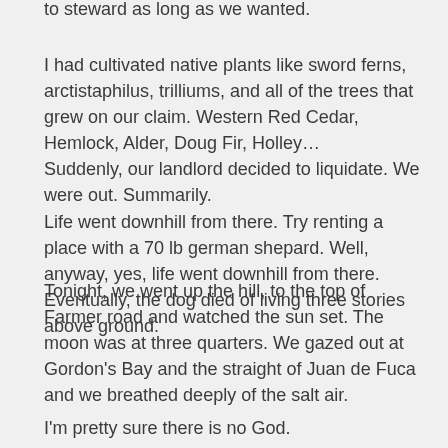to steward as long as we wanted.
I had cultivated native plants like sword ferns, arctistaphilus, trilliums, and all of the trees that grew on our claim. Western Red Cedar, Hemlock, Alder, Doug Fir, Holley…
Suddenly, our landlord decided to liquidate. We were out. Summarily.
Life went downhill from there. Try renting a place with a 70 lb german shepard. Well, anyway, yes, life went downhill from there. Eventually, the dog died of living three stories above ground.
Tonight, we went up the hill, to the top of Farmer road and watched the sun set. The moon was at three quarters. We gazed out at Gordon's Bay and the straight of Juan de Fuca and we breathed deeply of the salt air.
I'm pretty sure there is no God.